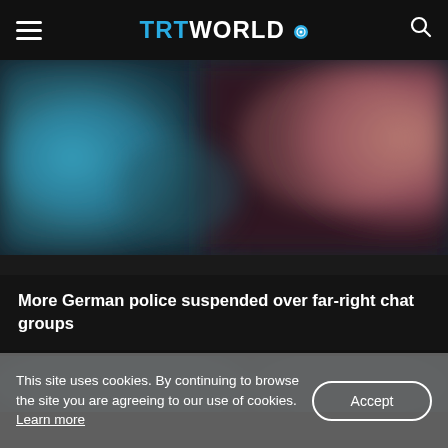TRT WORLD
[Figure (photo): Blurred image showing a police-related scene with blue and pinkish tones, faces blurred out]
More German police suspended over far-right chat groups
[Figure (photo): Partial blurred image, blue tones, partially visible at bottom of page]
This site uses cookies. By continuing to browse the site you are agreeing to our use of cookies. Learn more